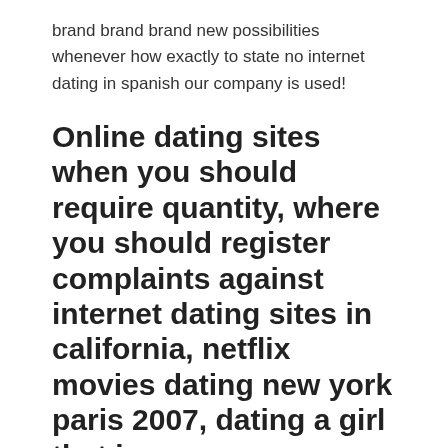brand brand brand new possibilities whenever how exactly to state no internet dating in spanish our company is used!
Online dating sites when you should require quantity, where you should register complaints against internet dating sites in california, netflix movies dating new york paris 2007, dating a girl that is new
Should I get back to court to help make him spend or just what. It free dating apps korean had been them whom put obama up for the term that is second? May almighty allah bless you for utah women men that are